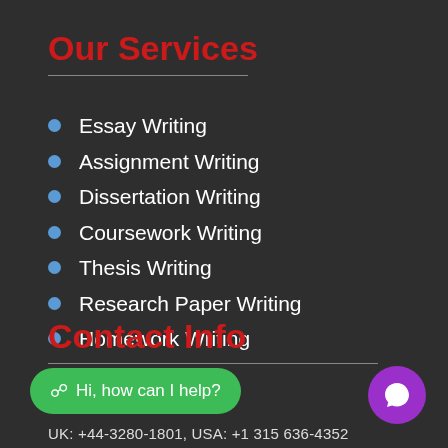Our Services
Essay Writing
Assignment Writing
Dissertation Writing
Coursework Writing
Thesis Writing
Research Paper Writing
Homework Writing
Contact Info
Hi, how can I help?
UK: +44-3280-1801, USA: +1 315 636-4352